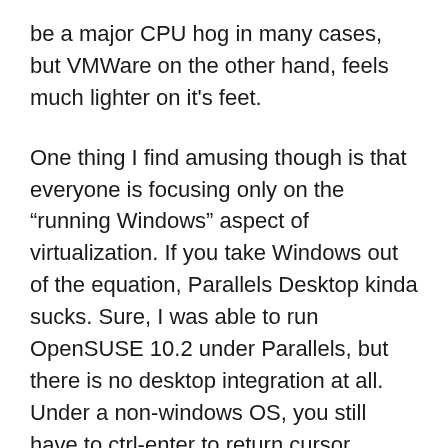be a major CPU hog in many cases, but VMWare on the other hand, feels much lighter on it's feet.
One thing I find amusing though is that everyone is focusing only on the “running Windows” aspect of virtualization. If you take Windows out of the equation, Parallels Desktop kinda sucks. Sure, I was able to run OpenSUSE 10.2 under Parallels, but there is no desktop integration at all. Under a non-windows OS, you still have to ctrl-enter to return cursor control to Mac OS X. VMWare on the other hand has it’s VMWare tools supported by several Linux distributions as well as Solaris 10. Additionally, VMWare will dynamically adjust the screen resolution of the target OS when the VMWare window is resized. It does this flawlessly under Ubuntu. I am currently writing this post in Ubuntu